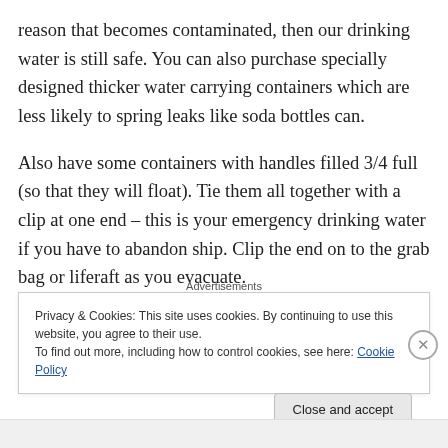reason that becomes contaminated, then our drinking water is still safe. You can also purchase specially designed thicker water carrying containers which are less likely to spring leaks like soda bottles can.
Also have some containers with handles filled 3/4 full (so that they will float). Tie them all together with a clip at one end – this is your emergency drinking water if you have to abandon ship. Clip the end on to the grab bag or liferaft as you evacuate.
Advertisements
Privacy & Cookies: This site uses cookies. By continuing to use this website, you agree to their use.
To find out more, including how to control cookies, see here: Cookie Policy
Close and accept